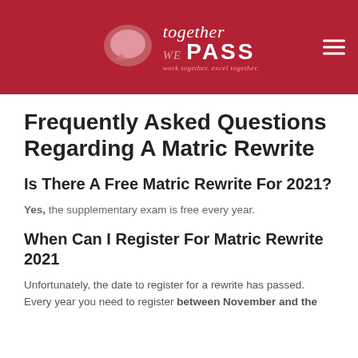[Figure (logo): Together We Pass logo on dark red header background with hamburger menu icon]
Frequently Asked Questions Regarding A Matric Rewrite
Is There A Free Matric Rewrite For 2021?
Yes, the supplementary exam is free every year.
When Can I Register For Matric Rewrite 2021
Unfortunately, the date to register for a rewrite has passed. Every year you need to register between November and the